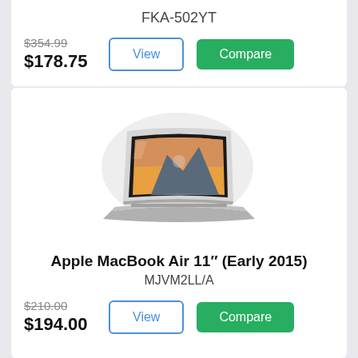FKA-502YT
$354.99 $178.75
[Figure (illustration): Apple MacBook Air laptop with Yosemite wallpaper on screen, angled view]
Apple MacBook Air 11" (Early 2015)
MJVM2LL/A
$210.00 $194.00